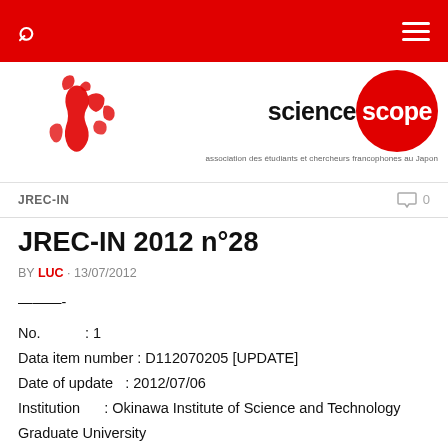[Figure (logo): ScienceScope website header with Japan map silhouette in red and sciencescope logo with red circle. Tagline: association des étudiants et chercheurs francophones au Japon]
JREC-IN   0
JREC-IN 2012 n°28
BY LUC · 13/07/2012
———-
No.           : 1
Data item number : D112070205 [UPDATE]
Date of update   : 2012/07/06
Institution      : Okinawa Institute of Science and Technology Graduate University
Title            : Research Technician, Human Developmental Neurobiology Unit